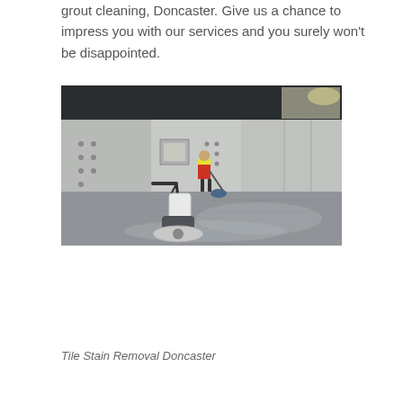grout cleaning, Doncaster. Give us a chance to impress you with our services and you surely won't be disappointed.
[Figure (photo): Industrial floor cleaning scene showing a large warehouse or factory floor being cleaned with a rotary floor scrubbing machine in the foreground and a worker in a high-visibility vest operating equipment in the background. The floor appears to be a smooth grey epoxy or concrete surface. The walls are white panelled. A floor buffer/rotary scrubber with a white bucket is prominently visible in the foreground.]
Tile Stain Removal Doncaster